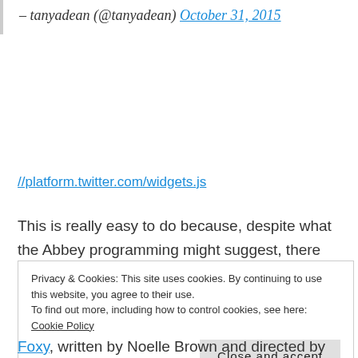– tanyadean (@tanyadean) October 31, 2015
//platform.twitter.com/widgets.js
This is really easy to do because, despite what the Abbey programming might suggest, there are lots of women making great theatre in Ireland right now. As I said in my last post about
Privacy & Cookies: This site uses cookies. By continuing to use this website, you agree to their use.
To find out more, including how to control cookies, see here: Cookie Policy
Close and accept
Foxy, written by Noelle Brown and directed by Oonagh Murphy.